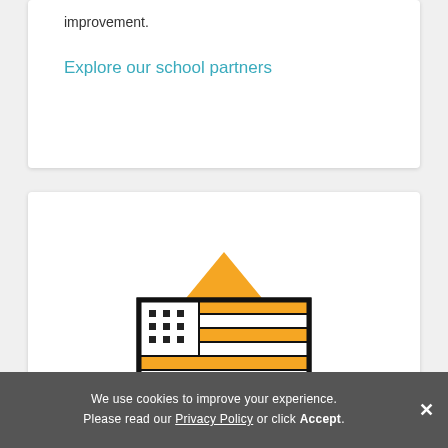improvement.
Explore our school partners
[Figure (illustration): Stylized American flag logo with orange diamond/star shape behind it, black bold outlines, orange and white stripes, small black squares in canton area]
We use cookies to improve your experience. Please read our Privacy Policy or click Accept.